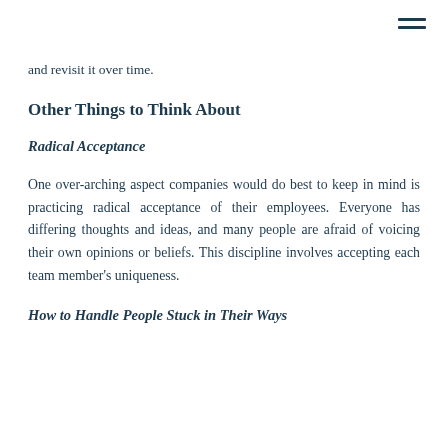and revisit it over time.
Other Things to Think About
Radical Acceptance
One over-arching aspect companies would do best to keep in mind is practicing radical acceptance of their employees. Everyone has differing thoughts and ideas, and many people are afraid of voicing their own opinions or beliefs. This discipline involves accepting each team member's uniqueness.
How to Handle People Stuck in Their Ways